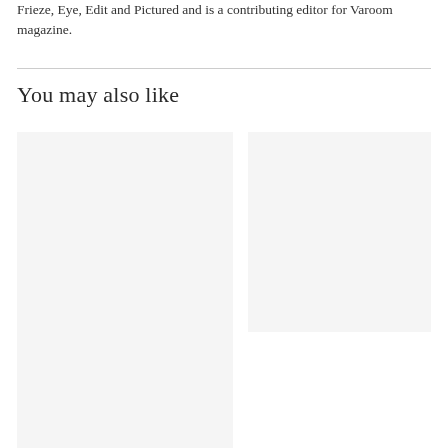Frieze, Eye, Edit and Pictured and is a contributing editor for Varoom magazine.
You may also like
[Figure (photo): Image placeholder (light gray background), left column]
[Figure (photo): Image placeholder (light gray background), right column]